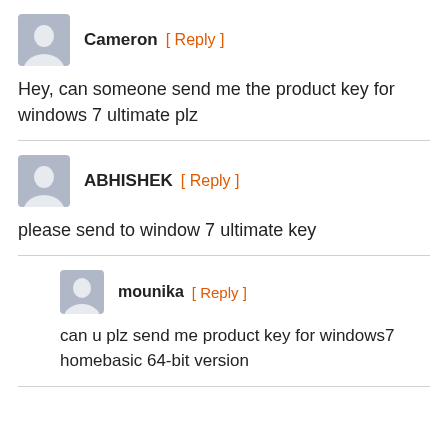Cameron [ Reply ]
Hey, can someone send me the product key for windows 7 ultimate plz
ABHISHEK [ Reply ]
please send to window 7 ultimate key
mounika [ Reply ]
can u plz send me product key for windows7 homebasic 64-bit version